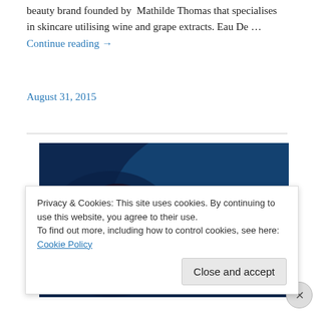beauty brand founded by Mathilde Thomas that specialises in skincare utilising wine and grape extracts. Eau De … Continue reading →
August 31, 2015
[Figure (photo): A close-up photo of a perfume bottle with a purple tassel/pompom against a deep blue background]
Privacy & Cookies: This site uses cookies. By continuing to use this website, you agree to their use.
To find out more, including how to control cookies, see here: Cookie Policy